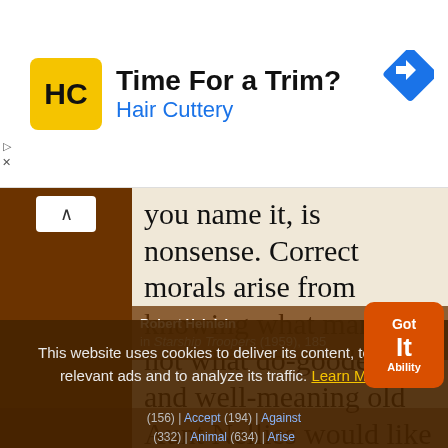[Figure (screenshot): Hair Cuttery advertisement banner with logo (HC in yellow square), headline 'Time For a Trim?', subtext 'Hair Cuttery', and a blue navigation diamond icon]
you name it, is nonsense. Correct morals arise from knowing what man is, not what do-gooders and well-meaning old Aunt Nellies would like him to be. The Universe will let us know—later—whether or not Man has any “right” to expand through it.
Robert Heinlein in Starship Troopers (1959), 185
This website uses cookies to deliver its content, to show relevant ads and to analyze its traffic. Learn More
quotes on: | Accept (194) | Against (332) | Animal (634) | Arise